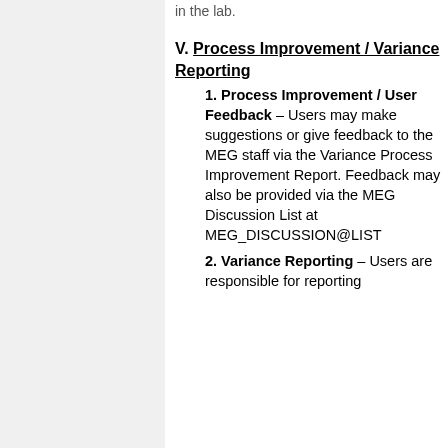in the lab.
V. Process Improvement / Variance Reporting
1. Process Improvement / User Feedback – Users may make suggestions or give feedback to the MEG staff via the Variance Process Improvement Report. Feedback may also be provided via the MEG Discussion List at MEG_DISCUSSION@LIST
2. Variance Reporting – Users are responsible for reporting